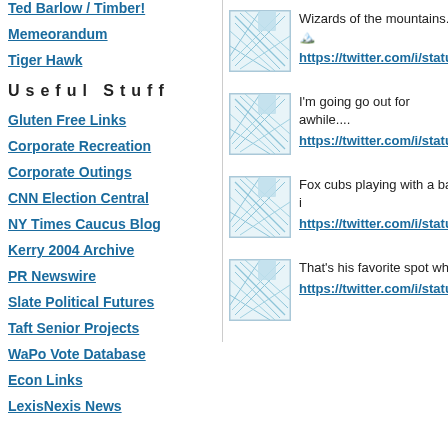Ted Barlow / Timber!
Memeorandum
Tiger Hawk
Useful Stuff
Gluten Free Links
Corporate Recreation
Corporate Outings
CNN Election Central
NY Times Caucus Blog
Kerry 2004 Archive
PR Newswire
Slate Political Futures
Taft Senior Projects
WaPo Vote Database
Econ Links
LexisNexis News
[Figure (illustration): Twitter profile thumbnail - mesh/web pattern in light blue]
Wizards of the mountains...🏔️
https://twitter.com/i/status/
[Figure (illustration): Twitter profile thumbnail - mesh/web pattern in light blue]
I'm going go out for awhile....
https://twitter.com/i/status/
[Figure (illustration): Twitter profile thumbnail - mesh/web pattern in light blue]
Fox cubs playing with a ball i
https://twitter.com/i/status/
[Figure (illustration): Twitter profile thumbnail - mesh/web pattern in light blue]
That's his favorite spot when
https://twitter.com/i/status/